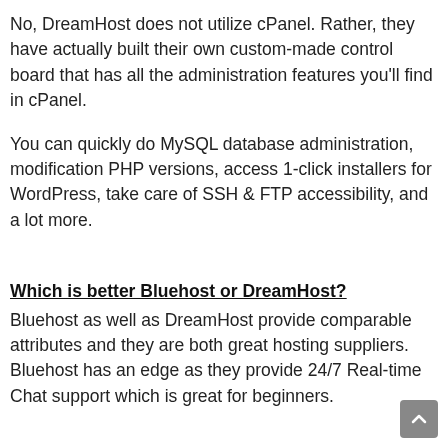No, DreamHost does not utilize cPanel. Rather, they have actually built their own custom-made control board that has all the administration features you'll find in cPanel.
You can quickly do MySQL database administration, modification PHP versions, access 1-click installers for WordPress, take care of SSH & FTP accessibility, and a lot more.
Which is better Bluehost or DreamHost?
Bluehost as well as DreamHost provide comparable attributes and they are both great hosting suppliers. Bluehost has an edge as they provide 24/7 Real-time Chat support which is great for beginners.